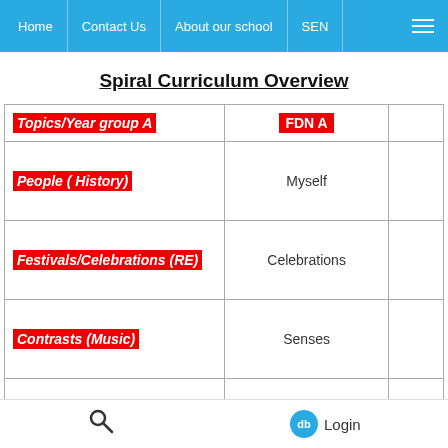Home | Contact Us | About our school | SEN
Spiral Curriculum Overview
| Topics/Year group A | FDN A |  |
| --- | --- | --- |
| People ( History) | Myself |  |
| Festivals/Celebrations (RE) | Celebrations |  |
| Contrasts (Music) | Senses |  |
| Materials (Science) | Food |  |
| Colour (Art) |  |  |